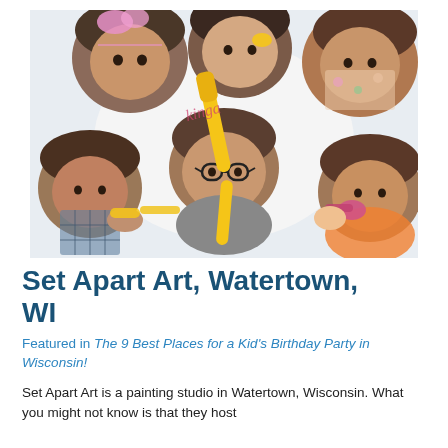[Figure (photo): Children with party hats and noisemakers photographed from below looking up, forming a circle. One child in the center blows a long yellow noisemaker. Bright, festive birthday party scene.]
Set Apart Art, Watertown, WI
Featured in The 9 Best Places for a Kid's Birthday Party in Wisconsin!
Set Apart Art is a painting studio in Watertown, Wisconsin. What you might not know is that they host